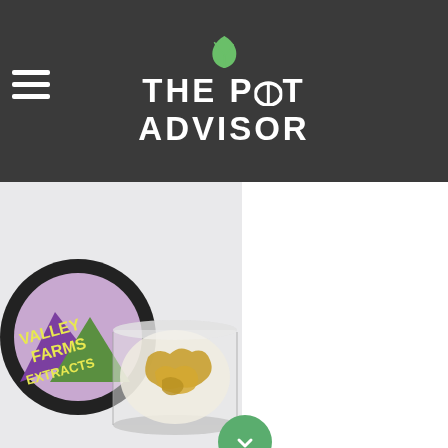THE POT ADVISOR
[Figure (photo): Valley Farms Extracts product jar with cannabis concentrate (sugar wax) inside a glass jar, with the branded lid showing 'Valley Farms Extracts' label with purple/green mountain graphic and yellow lettering.]